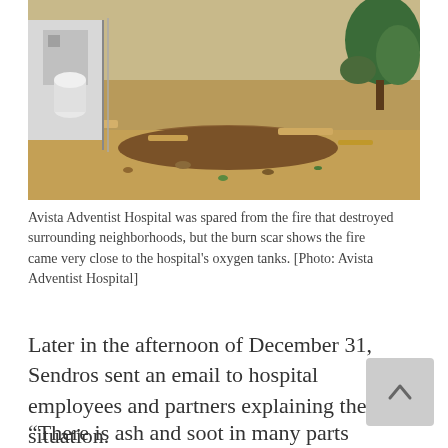[Figure (photo): Outdoor photo showing a burn scar with dry dirt and brown grass near hospital oxygen tanks and fencing, with a green tree visible in the upper right corner.]
Avista Adventist Hospital was spared from the fire that destroyed surrounding neighborhoods, but the burn scar shows the fire came very close to the hospital's oxygen tanks. [Photo: Avista Adventist Hospital]
Later in the afternoon of December 31, Sendros sent an email to hospital employees and partners explaining the situation.
“There is ash and soot in many parts of the